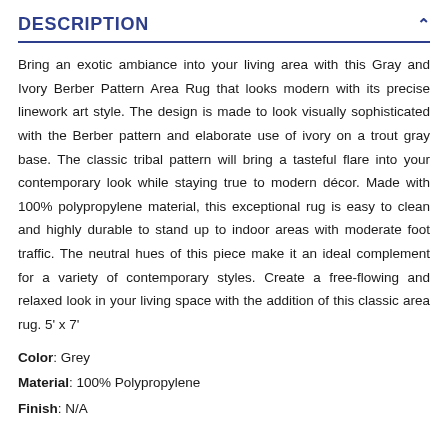DESCRIPTION
Bring an exotic ambiance into your living area with this Gray and Ivory Berber Pattern Area Rug that looks modern with its precise linework art style. The design is made to look visually sophisticated with the Berber pattern and elaborate use of ivory on a trout gray base. The classic tribal pattern will bring a tasteful flare into your contemporary look while staying true to modern décor. Made with 100% polypropylene material, this exceptional rug is easy to clean and highly durable to stand up to indoor areas with moderate foot traffic. The neutral hues of this piece make it an ideal complement for a variety of contemporary styles. Create a free-flowing and relaxed look in your living space with the addition of this classic area rug. 5' x 7'
Color: Grey
Material: 100% Polypropylene
Finish: N/A